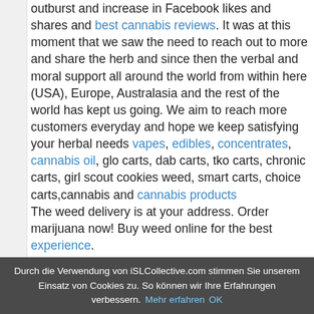outburst and increase in Facebook likes and shares and best cannabis reviews. It was at this moment that we saw the need to reach out to more and share the herb and since then the verbal and moral support all around the world from within here (USA), Europe, Australasia and the rest of the world has kept us going. We aim to reach more customers everyday and hope we keep satisfying your herbal needs vapes, edibles, concentrates, cannabis oil, glo carts, dab carts, tko carts, chronic carts, girl scout cookies weed, smart carts, choice carts,cannabis and cannabis products
The weed delivery is at your address. Order marijuana now! Buy weed online for the best experience.
Are you in search of stoney patch,blue
Durch die Verwendung von iSLCollective.com stimmen Sie unserem Einsatz von Cookies zu. So können wir Ihre Erfahrungen verbessern. Mehr erfahren OK